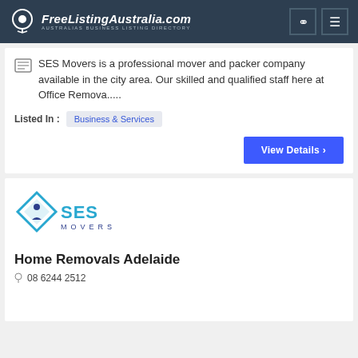FreeListingAustralia.com — AUSTRALIAS BUSINESS LISTING DIRECTORY
SES Movers is a professional mover and packer company available in the city area. Our skilled and qualified staff here at Office Remova.....
Listed In : Business & Services
View Details ›
[Figure (logo): SES Movers logo — diamond shaped icon with a person silhouette, bold SES lettering in cyan/blue, and MOVERS text below]
Home Removals Adelaide
08 6244 2512